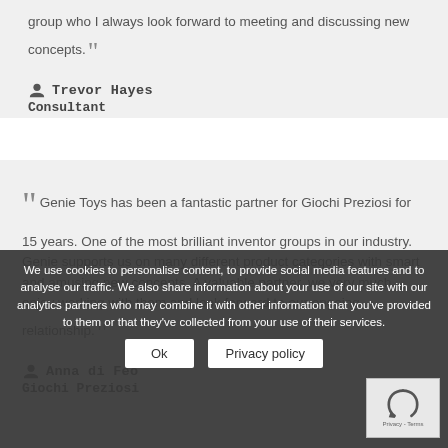group who I always look forward to meeting and discussing new concepts.
Trevor Hayes
Consultant
Genie Toys has been a fantastic partner for Giochi Preziosi for 15 years. One of the most brilliant inventor groups in our industry. Genie supports us on many different product categories with smart and amusing new concepts. A valuable partner, we very much enjoy working with them and look forward to our ongoing relationship.
Anna di Feo
Giochi Preziosi
We use cookies to personalise content, to provide social media features and to analyse our traffic. We also share information about your use of our site with our analytics partners who may combine it with other information that you've provided to them or that they've collected from your use of their services.